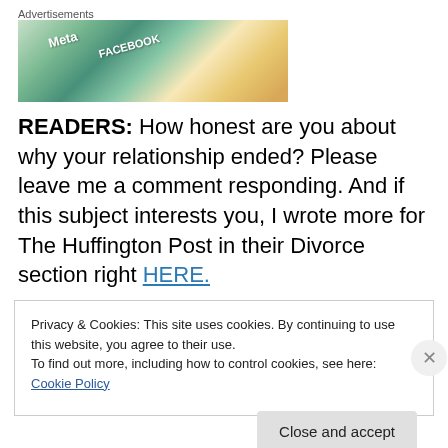[Figure (photo): Advertisement banner showing colorful Meta and Facebook branded cards/tiles with an 'Advertisements' label above]
READERS:  How honest are you about why your relationship ended? Please leave me a comment responding. And if this subject interests you, I wrote more for The Huffington Post in their Divorce section right HERE.
Privacy & Cookies: This site uses cookies. By continuing to use this website, you agree to their use.
To find out more, including how to control cookies, see here: Cookie Policy
Close and accept